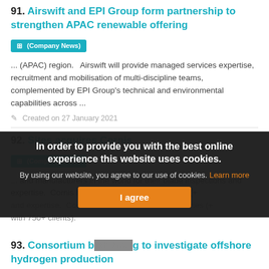91. Airswift and EPI Group form partnership to strengthen APAC renewable offering
(Company News)
... (APAC) region.   Airswift will provide managed services expertise, recruitment and mobilisation of multi-discipline teams, complemented by EPI Group's technical and environmental capabilities across ...
Created on 27 January 2021
92. Sites acquires Cornis
(Company News)
... and manufacturers in the world for their blade inspections and expertise.  Cornis has clients in over 40 countries (+ with 750+ clients).
In order to provide you with the best online experience this website uses cookies.
By using our website, you agree to our use of cookies. Learn more
I agree
93. Consortium [...] to investigate offshore hydrogen production